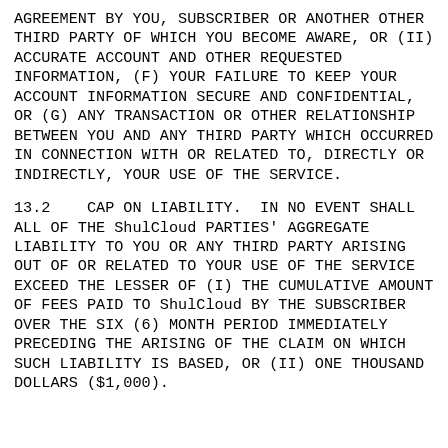AGREEMENT BY YOU, SUBSCRIBER OR ANOTHER OTHER THIRD PARTY OF WHICH YOU BECOME AWARE, OR (II) ACCURATE ACCOUNT AND OTHER REQUESTED INFORMATION, (F) YOUR FAILURE TO KEEP YOUR ACCOUNT INFORMATION SECURE AND CONFIDENTIAL, OR (G) ANY TRANSACTION OR OTHER RELATIONSHIP BETWEEN YOU AND ANY THIRD PARTY WHICH OCCURRED IN CONNECTION WITH OR RELATED TO, DIRECTLY OR INDIRECTLY, YOUR USE OF THE SERVICE.
13.2    CAP ON LIABILITY.  IN NO EVENT SHALL ALL OF THE ShulCloud PARTIES' AGGREGATE LIABILITY TO YOU OR ANY THIRD PARTY ARISING OUT OF OR RELATED TO YOUR USE OF THE SERVICE EXCEED THE LESSER OF (I) THE CUMULATIVE AMOUNT OF FEES PAID TO ShulCloud BY THE SUBSCRIBER OVER THE SIX (6) MONTH PERIOD IMMEDIATELY PRECEDING THE ARISING OF THE CLAIM ON WHICH SUCH LIABILITY IS BASED, OR (II) ONE THOUSAND DOLLARS ($1,000).